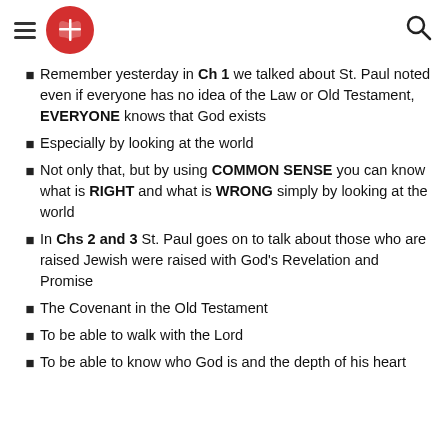Navigation header with hamburger menu, red circular logo with cross/book icon, and search icon
Remember yesterday in Ch 1 we talked about St. Paul noted even if everyone has no idea of the Law or Old Testament, EVERYONE knows that God exists
Especially by looking at the world
Not only that, but by using COMMON SENSE you can know what is RIGHT and what is WRONG simply by looking at the world
In Chs 2 and 3 St. Paul goes on to talk about those who are raised Jewish were raised with God's Revelation and Promise
The Covenant in the Old Testament
To be able to walk with the Lord
To be able to know who God is and the depth of his heart